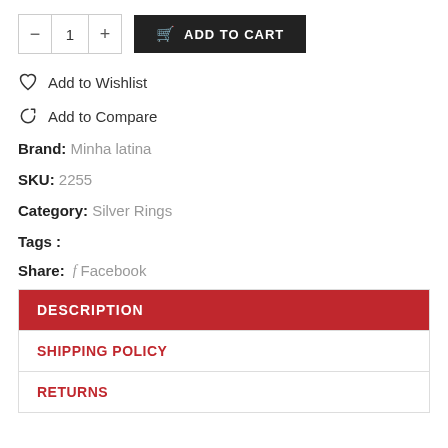- 1 + ADD TO CART
Add to Wishlist
Add to Compare
Brand: Minha latina
SKU: 2255
Category: Silver Rings
Tags :
Share: f Facebook
DESCRIPTION
SHIPPING POLICY
RETURNS